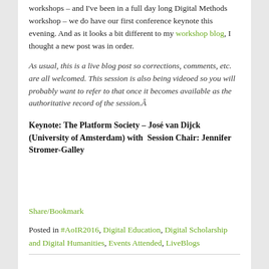workshops – and I've been in a full day long Digital Methods workshop – we do have our first conference keynote this evening. And as it looks a bit different to my workshop blog, I thought a new post was in order.
As usual, this is a live blog post so corrections, comments, etc. are all welcomed. This session is also being videoed so you will probably want to refer to that once it becomes available as the authoritative record of the session.Â
Keynote: The Platform Society – José van Dijck (University of Amsterdam) with  Session Chair: Jennifer Stromer-Galley
Share/Bookmark
Posted in #AoIR2016, Digital Education, Digital Scholarship and Digital Humanities, Events Attended, LiveBlogs